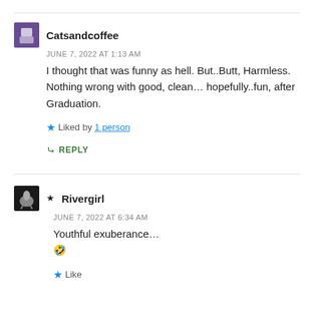Catsandcoffee
JUNE 7, 2022 AT 1:13 AM
I thought that was funny as hell. But..Butt, Harmless. Nothing wrong with good, clean… hopefully..fun, after Graduation.
Liked by 1 person
REPLY
★ Rivergirl
JUNE 7, 2022 AT 6:34 AM
Youthful exuberance… 🤣
Like